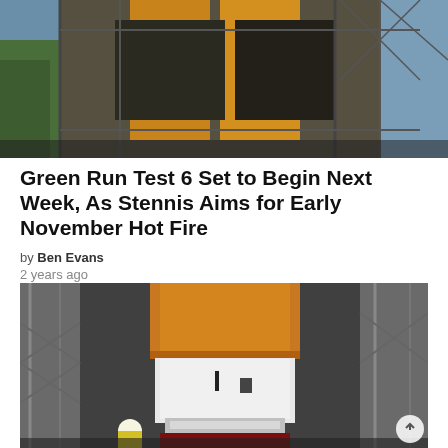[Figure (photo): Aerial or upward-angled view of a large industrial structure or launch tower with yellow/orange panels and metal scaffolding, trees visible on the left]
Green Run Test 6 Set to Begin Next Week, As Stennis Aims for Early November Hot Fire
by Ben Evans
2 years ago
[Figure (photo): Close-up photograph of the SLS (Space Launch System) core stage with orange liquid hydrogen tank and white engine section, workers in yellow safety vests visible at the base, metal scaffolding surrounding the rocket at Stennis Space Center]